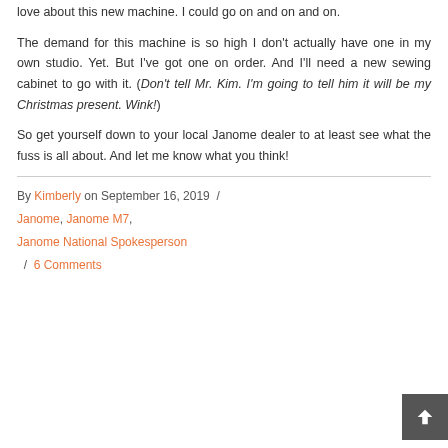love about this new machine. I could go on and on and on.
The demand for this machine is so high I don't actually have one in my own studio. Yet. But I've got one on order. And I'll need a new sewing cabinet to go with it. (Don't tell Mr. Kim. I'm going to tell him it will be my Christmas present. Wink!)
So get yourself down to your local Janome dealer to at least see what the fuss is all about. And let me know what you think!
By Kimberly on September 16, 2019 / Janome, Janome M7, Janome National Spokesperson / 6 Comments